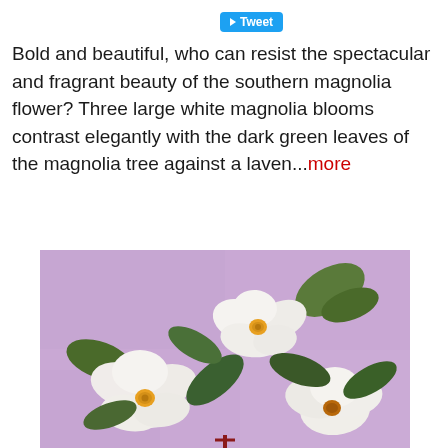[Figure (other): Twitter Tweet button (blue rounded rectangle with bird/arrow icon and 'Tweet' text)]
Bold and beautiful, who can resist the spectacular and fragrant beauty of the southern magnolia flower? Three large white magnolia blooms contrast elegantly with the dark green leaves of the magnolia tree against a laven...more
[Figure (illustration): Painting of three large white magnolia blooms with dark green leaves against a lavender/purple background. The flowers have yellow-orange centers and white petals.]